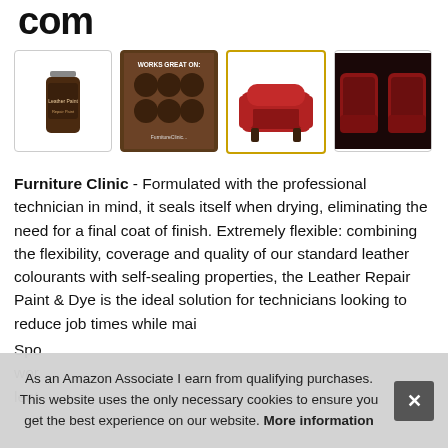com...
[Figure (photo): Four product thumbnails: 1) Leather repair paint bottle, 2) Dark brown promotional image 'Works Great On:' with animal/material circles, 3) Red leather armchair (highlighted with gold border), 4) Red leather car interior seats]
Furniture Clinic - Formulated with the professional technician in mind, it seals itself when drying, eliminating the need for a final coat of finish. Extremely flexible: combining the flexibility, coverage and quality of our standard leather colourants with self-sealing properties, the Leather Repair Paint & Dye is the ideal solution for technicians looking to reduce job times while mai...
Spo... wor... leat...
As an Amazon Associate I earn from qualifying purchases. This website uses the only necessary cookies to ensure you get the best experience on our website. More information